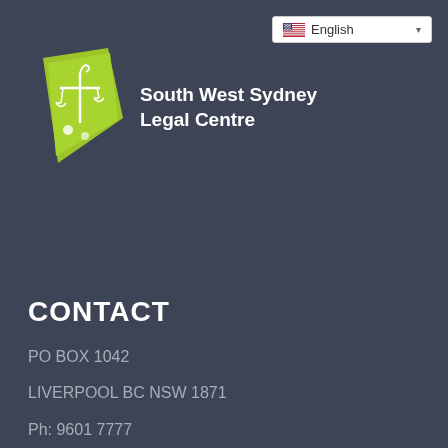[Figure (screenshot): Language selector dropdown showing English with US flag icon in top right corner]
[Figure (logo): South West Sydney Legal Centre logo with green scales of justice emblem and white bold text]
CONTACT
PO BOX 1042
LIVERPOOL BC NSW 1871
Ph: 9601 7777
Fax: 9600 6244
Email: info@swslc.org.au